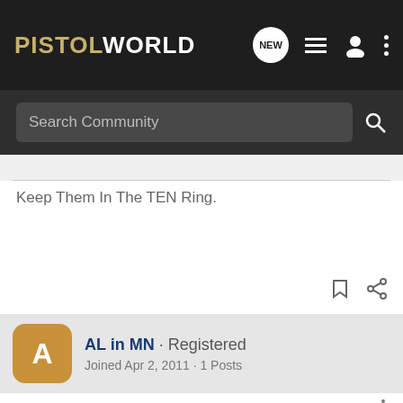PISTOLWORLD
Search Community
Keep Them In The TEN Ring.
AL in MN · Registered
Joined Apr 2, 2011 · 1 Posts
#7 · Apr 2, 2011
Interested in purchasing it.
Private
[Figure (logo): Franklin Armory advertisement banner with soldier and logo]